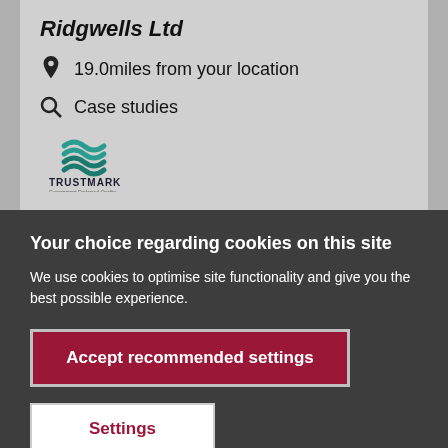Ridgwells Ltd
19.0miles from your location
Case studies
[Figure (logo): TrustMark logo - Government Endorsed Quality]
Ridgwells are an established construction
Your choice regarding cookies on this site
We use cookies to optimise site functionality and give you the best possible experience.
Accept recommended settings
Settings